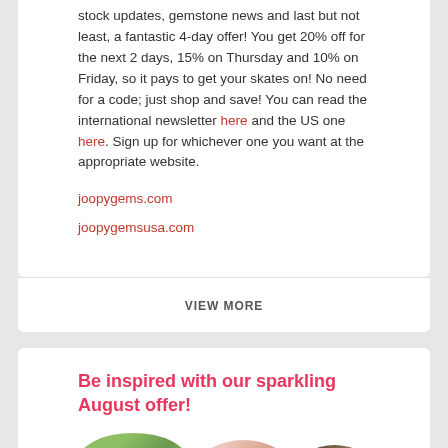stock updates, gemstone news and last but not least, a fantastic 4-day offer! You get 20% off for the next 2 days, 15% on Thursday and 10% on Friday, so it pays to get your skates on! No need for a code; just shop and save! You can read the international newsletter here and the US one here. Sign up for whichever one you want at the appropriate website.
joopygems.com
joopygemsusa.com
VIEW MORE
Be inspired with our sparkling August offer!
[Figure (photo): Gemstones photo showing green, pink, and dark brown/black stones]